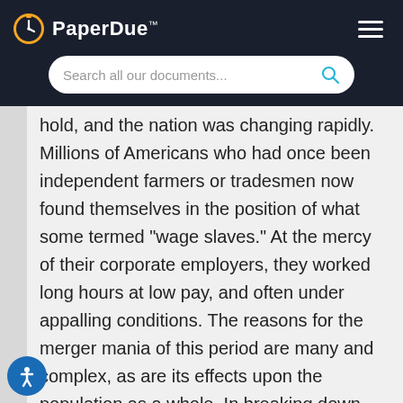PaperDue™
hold, and the nation was changing rapidly. Millions of Americans who had once been independent farmers or tradesmen now found themselves in the position of what some termed "wage slaves." At the mercy of their corporate employers, they worked long hours at low pay, and often under appalling conditions. The reasons for the merger mania of this period are many and complex, as are its effects upon the population as a whole. In breaking down the traditional vocational environment, the gigantic new conglomerates also transformed the entire social landscape. ork was no longer a family business